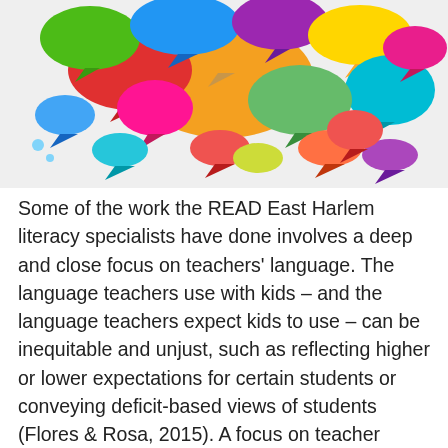[Figure (illustration): Colorful speech bubbles in various shapes and colors (red, orange, yellow, green, blue, purple, pink, teal, etc.) overlapping each other against a light gray background, suggesting conversation and communication.]
Some of the work the READ East Harlem literacy specialists have done involves a deep and close focus on teachers' language. The language teachers use with kids – and the language teachers expect kids to use – can be inequitable and unjust, such as reflecting higher or lower expectations for certain students or conveying deficit-based views of students (Flores & Rosa, 2015). A focus on teacher language can be brought into preservice teacher education, particularly through the use of video – of cooperating teachers, of the preservice teachers, of teachers in professional development videos. One READ East Harlem literacy specialist does